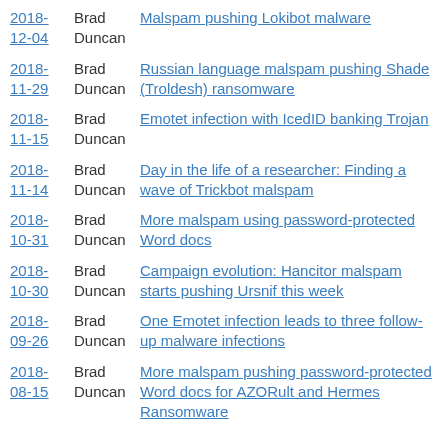2018-12-04 | Brad Duncan | Malspam pushing Lokibot malware
2018-11-29 | Brad Duncan | Russian language malspam pushing Shade (Troldesh) ransomware
2018-11-15 | Brad Duncan | Emotet infection with IcedID banking Trojan
2018-11-14 | Brad Duncan | Day in the life of a researcher: Finding a wave of Trickbot malspam
2018-10-31 | Brad Duncan | More malspam using password-protected Word docs
2018-10-30 | Brad Duncan | Campaign evolution: Hancitor malspam starts pushing Ursnif this week
2018-09-26 | Brad Duncan | One Emotet infection leads to three follow-up malware infections
2018-08-15 | Brad Duncan | More malspam pushing password-protected Word docs for AZORult and Hermes Ransomware